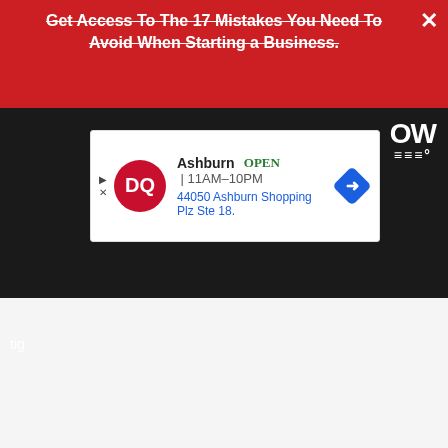Get Access To The 17 Mistakes You Need To Avoid When Starting a Business.
[Figure (screenshot): Dark website header bar with white bold text (strikethrough) and weather widget showing 'OW' and temperature icon]
[Figure (screenshot): Dairy Queen local ad banner: Ashburn OPEN 11AM-10PM, 44050 Ashburn Shopping Plz Ste 18, with DQ logo and blue navigation arrow diamond icon]
tig
[Figure (screenshot): Light gray empty content area below the banner]